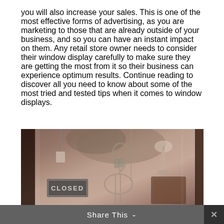you will also increase your sales. This is one of the most effective forms of advertising, as you are marketing to those that are already outside of your business, and so you can have an instant impact on them. Any retail store owner needs to consider their window display carefully to make sure they are getting the most from it so their business can experience optimum results. Continue reading to discover all you need to know about some of the most tried and tested tips when it comes to window displays.
[Figure (photo): A grayscale/sepia photo of a shop window display showing a closed sign, a tuba instrument, a lamp, and various antique items. A 'CLOSED' sign is visible in the lower left of the window.]
Share This ∨  ✕